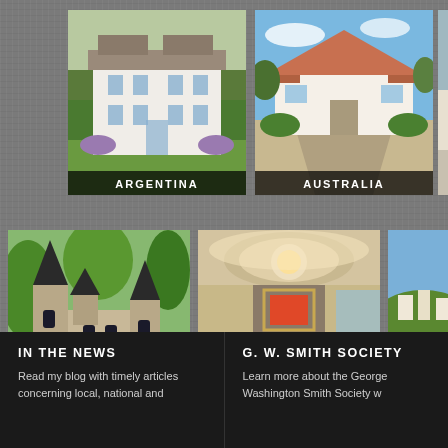[Figure (photo): Luxury white mansion with green lawn - Argentina property]
ARGENTINA
[Figure (photo): White country home with terracotta roof and gravel driveway - Australia property]
AUSTRALIA
[Figure (photo): Gothic style castle with dark spires surrounded by trees - Germany property]
GERMANY
[Figure (photo): Elegant interior dining room with chandelier and white chairs - Hong Kong property]
HONG KONG
[Figure (photo): Aerial view of marina with yachts - Monaco property (partially cropped)]
MONACO
IN THE NEWS
Read my blog with timely articles concerning local, national and
G. W. SMITH SOCIETY
Learn more about the George Washington Smith Society w